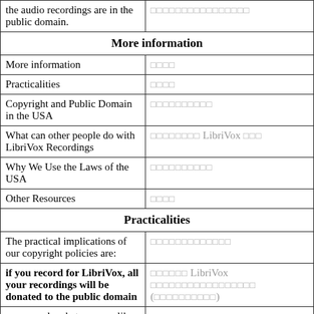| the audio recordings are in the public domain. | □□□□□□□□□□□□□□□□ |
| [SECTION] More information |  |
| More information | □□□□ |
| Practicalities | □□□□ |
| Copyright and Public Domain in the USA | □□□□□□□□□□ |
| What can other people do with LibriVox Recordings | □□□□□□□□ LibriVox □□□ |
| Why We Use the Laws of the USA | □□□□□□□□□□ |
| Other Resources | □□□□ |
| [SECTION] Practicalities |  |
| The practical implications of our copyright policies are: | □□□□□□□□□□□□□ |
| if you record for LibriVox, all your recordings will be donated to the public domain | □□□□□□ LibriVox □□□□□□□□□□□□□□□□□ (□□□□□□□□□□) |
| you may do whatever you like with our recordings - you don't need permission | □□□□□□□□□□□□□□□□- □□□□□□□□ |